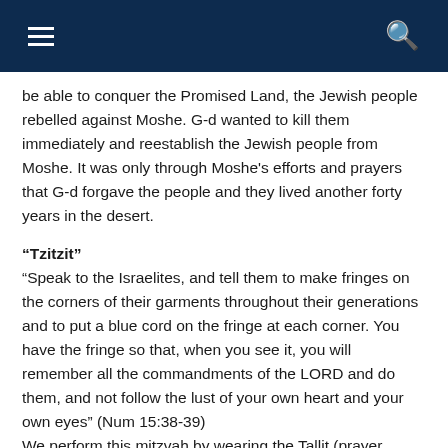≡  🔍
be able to conquer the Promised Land, the Jewish people rebelled against Moshe. G-d wanted to kill them immediately and reestablish the Jewish people from Moshe. It was only through Moshe's efforts and prayers that G-d forgave the people and they lived another forty years in the desert.
“Tzitzit”
“Speak to the Israelites, and tell them to make fringes on the corners of their garments throughout their generations and to put a blue cord on the fringe at each corner. You have the fringe so that, when you see it, you will remember all the commandments of the LORD and do them, and not follow the lust of your own heart and your own eyes” (Num 15:38-39)
We perform this mitzvah by wearing the Tallit (prayer